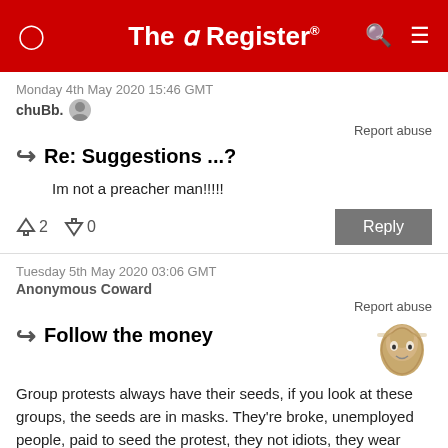The Register
Monday 4th May 2020 15:46 GMT
chuBb.
Report abuse
Re: Suggestions ...?
Im not a preacher man!!!!!
2  0  Reply
Tuesday 5th May 2020 03:06 GMT
Anonymous Coward
Report abuse
Follow the money
Group protests always have their seeds, if you look at these groups, the seeds are in masks. They're broke, unemployed people, paid to seed the protest, they not idiots, they wear masks while